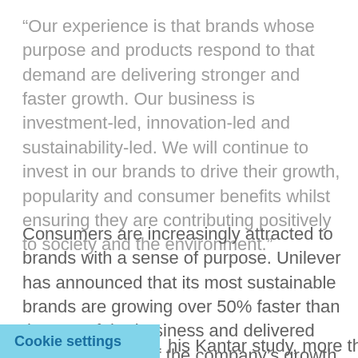“Our experience is that brands whose purpose and products respond to that demand are delivering stronger and faster growth. Our business is investment-led, innovation-led and sustainability-led. We will continue to invest in our brands to drive their growth, popularity and consumer benefits whilst ensuring they are contributing positively to society and the environment.”
Consumers are increasingly attracted to brands with a sense of purpose. Unilever has announced that its most sustainable brands are growing over 50% faster than the rest of the business and delivered more than 60% of the company’s growth in 2016.
Cookie settings
his Kantar study, more than two